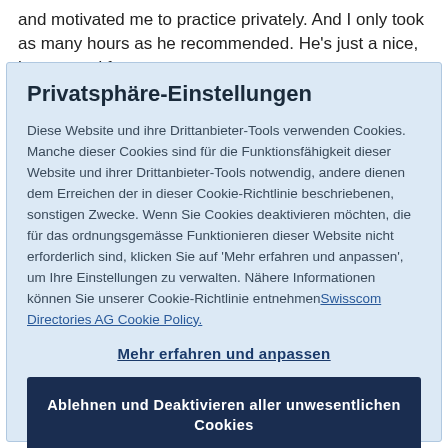and motivated me to practice privately. And I only took as many hours as he recommended. He's just a nice, honest and funny guy
Privatsphäre-Einstellungen
Diese Website und ihre Drittanbieter-Tools verwenden Cookies. Manche dieser Cookies sind für die Funktionsfähigkeit dieser Website und ihrer Drittanbieter-Tools notwendig, andere dienen dem Erreichen der in dieser Cookie-Richtlinie beschriebenen, sonstigen Zwecke. Wenn Sie Cookies deaktivieren möchten, die für das ordnungsgemässe Funktionieren dieser Website nicht erforderlich sind, klicken Sie auf 'Mehr erfahren und anpassen', um Ihre Einstellungen zu verwalten. Nähere Informationen können Sie unserer Cookie-Richtlinie entnehmenSwisscom Directories AG Cookie Policy.
Mehr erfahren und anpassen
Ablehnen und Deaktivieren aller unwesentlichen Cookies